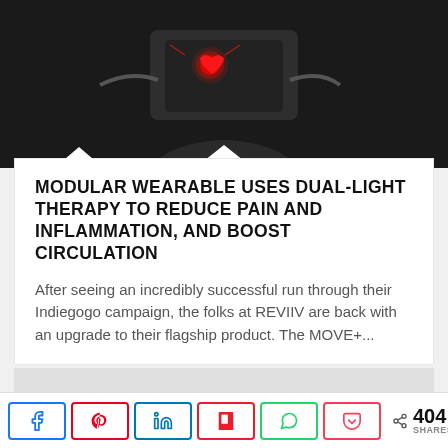[Figure (photo): Close-up photo of a hand holding a wearable medical device with red LED lights glowing, against a dark background.]
MODULAR WEARABLE USES DUAL-LIGHT THERAPY TO REDUCE PAIN AND INFLAMMATION, AND BOOST CIRCULATION
After seeing an incredibly successful run through their Indiegogo campaign, the folks at REVIIV are back with an upgrade to their flagship product. The MOVE+...
[Figure (photo): Partially visible grey/light image, second article card beginning to appear below.]